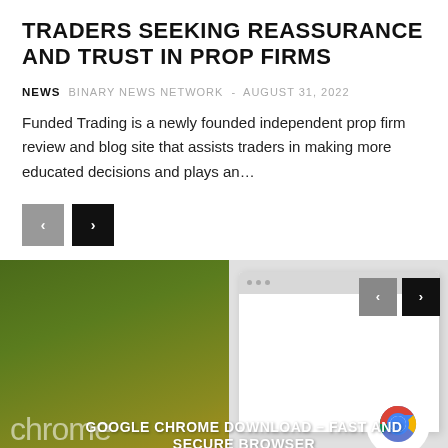TRADERS SEEKING REASSURANCE AND TRUST IN PROP FIRMS
NEWS  BINARY NEWS NETWORK - AUGUST 31, 2022
Funded Trading is a newly founded independent prop firm review and blog site that assists traders in making more educated decisions and plays an...
[Figure (screenshot): Navigation buttons: grey left arrow and black right arrow buttons]
[Figure (screenshot): Google Chrome download advertisement banner showing a dark olive/gold gradient background on the left with the Chrome wordmark and a browser mockup with Chrome logo on the right, with white text reading GOOGLE CHROME DOWNLOAD – FAST AND SECURE BROWSER and navigation arrows in the top right corner]